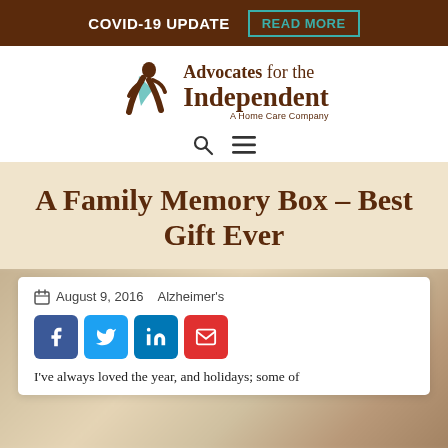COVID-19 UPDATE  READ MORE
[Figure (logo): Advocates for the Independent – A Home Care Company logo with stylized running figure icon in brown with teal ribbon]
A Family Memory Box – Best Gift Ever
August 9, 2016    Alzheimer's
I've always loved the year, and holidays; some of